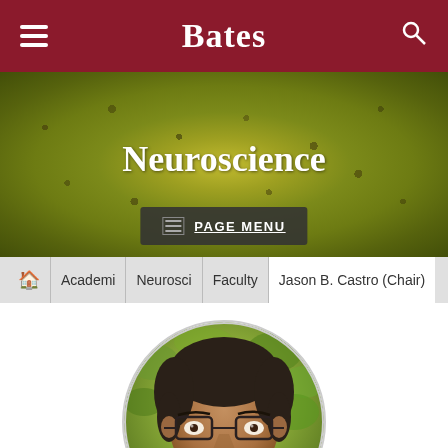Bates
Neuroscience
PAGE MENU
Academic | Neurosci | Faculty | Jason B. Castro (Chair)
[Figure (photo): Circular portrait photo of Jason B. Castro, a man with dark hair, glasses, and a goatee, photographed outdoors with blurred green foliage background.]